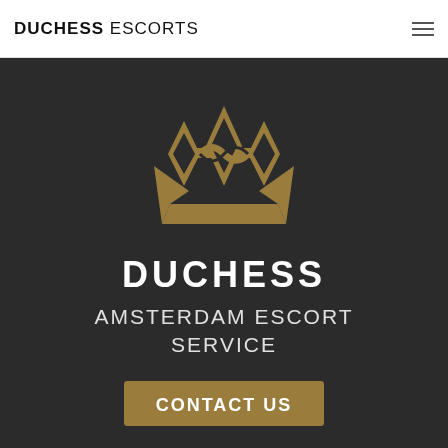DUCHESS ESCORTS
[Figure (logo): Duchess Escorts gold geometric crown/diamond logo mark]
DUCHESS
AMSTERDAM ESCORT SERVICE
CONTACT US